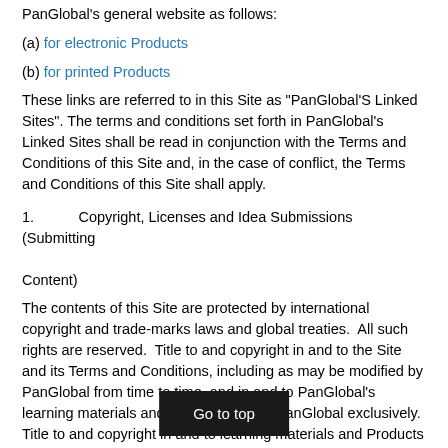PanGlobal's general website as follows:
(a) for electronic Products
(b) for printed Products
These links are referred to in this Site as "PanGlobal'S Linked Sites". The terms and conditions set forth in PanGlobal's Linked Sites shall be read in conjunction with the Terms and Conditions of this Site and, in the case of conflict, the Terms and Conditions of this Site shall apply.
1.          Copyright, Licenses and Idea Submissions (Submitting Content)
The contents of this Site are protected by international copyright and trade-marks laws and global treaties.  All such rights are reserved.  Title to and copyright in and to the Site and its Terms and Conditions, including as may be modified by PanGlobal from time to time, and in and to PanGlobal's learning materials and Products vest in PanGlobal exclusively.  Title to and copyright in and to learning materials and Products owned by PanGlobal's licensors, copies of which may be available for purchase by you as Products, vest in PanGlobal's linked Sites, not in you or anyone else.  All